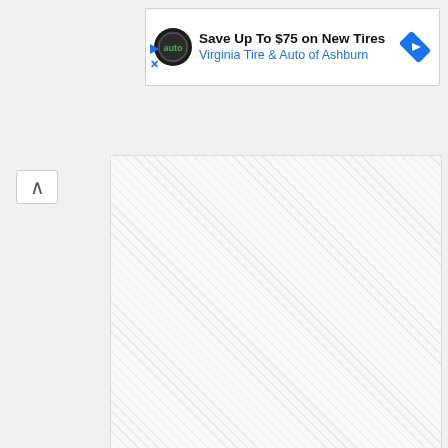[Figure (screenshot): Advertisement banner: Save Up To $75 on New Tires - Virginia Tire & Auto of Ashburn, with logo and navigation arrow]
[Figure (screenshot): Email client interface showing a redacted/blurred email body with collapse/expand controls and a Reply button]
Reply
[Figure (screenshot): Second partially visible redacted email below the first one]